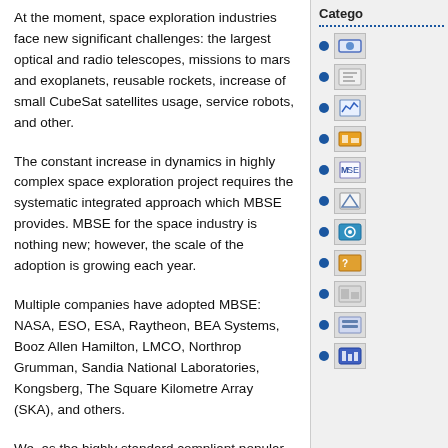At the moment, space exploration industries face new significant challenges: the largest optical and radio telescopes, missions to mars and exoplanets, reusable rockets, increase of small CubeSat satellites usage, service robots, and other.
The constant increase in dynamics in highly complex space exploration project requires the systematic integrated approach which MBSE provides. MBSE for the space industry is nothing new; however, the scale of the adoption is growing each year.
Multiple companies have adopted MBSE: NASA, ESO, ESA, Raytheon, BEA Systems, Booz Allen Hamilton, LMCO, Northrop Grumman, Sandia National Laboratories, Kongsberg, The Square Kilometre Array (SKA), and others.
We, as the highly standard compliant popular modeling tool vendor and solutions provider, are in the middle satisfying our industrial client needs on the one hand and influencing and actively developing the system engineering – SysMI
Catego
[icon item 1]
[icon item 2]
[icon item 3]
[icon item 4]
[icon item 5]
[icon item 6]
[icon item 7]
[icon item 8]
[icon item 9]
[icon item 10]
[icon item 11]